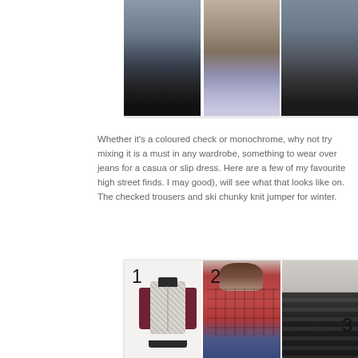[Figure (photo): Three fashion/street style photos cropped at waist/legs level showing dark jeans and boots, sneakers, and dark trousers respectively]
Whether it's a coloured check or monochrome, why not try mixing it is a must in any wardrobe, something to wear over jeans for a casual or slip dress. Here are a few of my favourite high street finds. I may good), will see what that looks like on. The checked trousers and ski chunky knit jumper for winter.
[Figure (photo): Product grid showing: (1) a houndstooth check bomber jacket with dark burgundy sleeves and collar, (2) a woman modeling a red plaid/checked shirt with jeans, (3) partial view of a dark checked/striped skirt or trousers with number 3 label]